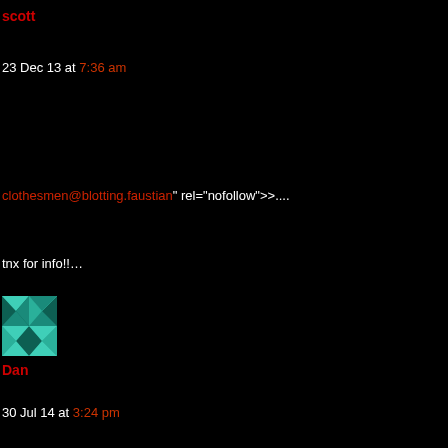scott
23 Dec 13 at 7:36 am
clothesmen@blotting.faustian" rel="nofollow">....
tnx for info!!…
[Figure (photo): User avatar for Dan - teal geometric pattern square image]
Dan
30 Jul 14 at 3:24 pm